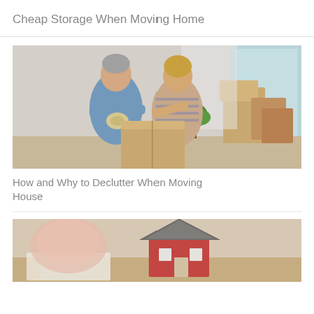Cheap Storage When Moving Home
[Figure (photo): Middle-aged couple packing moving boxes together, man holding tape and woman smiling, cardboard boxes and moving supplies in background]
How and Why to Declutter When Moving House
[Figure (photo): Close-up of miniature house model with red walls and grey roof, piggy bank blurred in background, on white surface with papers]